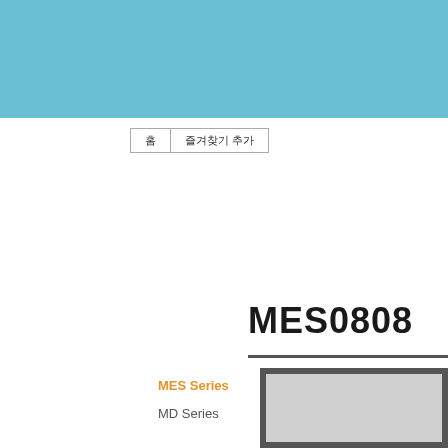[Figure (screenshot): Light blue header banner bar at the top of the page]
홈   즐겨찾기 추가
MES0808
[Figure (photo): Product image placeholder showing grey rectangle inside dark grey border frame]
MES Series
MD Series